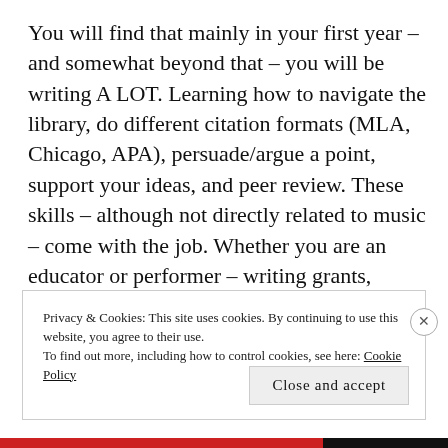You will find that mainly in your first year – and somewhat beyond that – you will be writing A LOT. Learning how to navigate the library, do different citation formats (MLA, Chicago, APA), persuade/argue a point, support your ideas, and peer review. These skills – although not directly related to music – come with the job. Whether you are an educator or performer – writing grants, program notes, etc. you want to be able to write intelligently.
Privacy & Cookies: This site uses cookies. By continuing to use this website, you agree to their use.
To find out more, including how to control cookies, see here: Cookie Policy